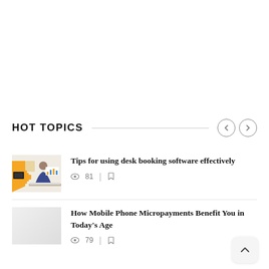HOT TOPICS
Tips for using desk booking software effectively
81
How Mobile Phone Micropayments Benefit You in Today's Age
79